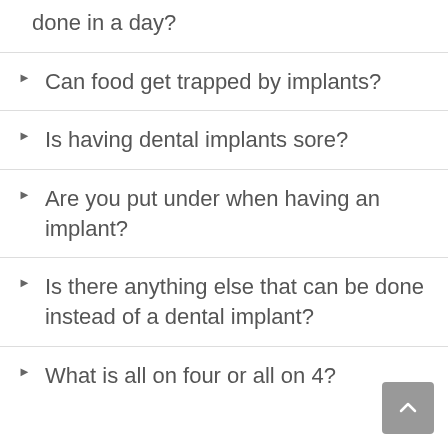done in a day?
Can food get trapped by implants?
Is having dental implants sore?
Are you put under when having an implant?
Is there anything else that can be done instead of a dental implant?
What is all on four or all on 4?